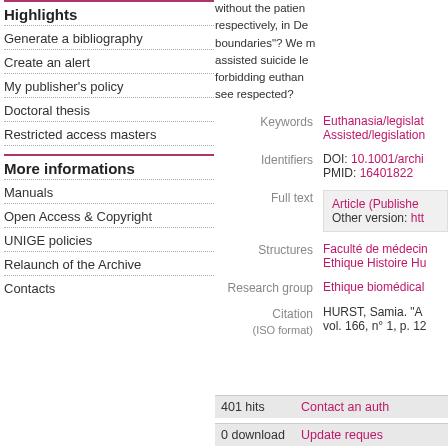Highlights
Generate a bibliography
Create an alert
My publisher's policy
Doctoral thesis
Restricted access masters
More informations
Manuals
Open Access & Copyright
UNIGE policies
Relaunch of the Archive
Contacts
without the patient... respectively, in Den... boundaries"? We m... assisted suicide le... forbidding euthanasi... see respected?
Keywords  Euthanasia/legislat... Assisted/legislation
Identifiers  DOI: 10.1001/archi... PMID: 16401822
Full text  Article (Published... Other version: htt...
Structures  Faculté de médecin... Ethique Histoire Hu...
Research group  Ethique biomédical...
Citation (ISO format)  HURST, Samia. "A... vol. 166, n° 1, p. 12...
401 hits   Contact an auth...
0 download   Update reques...